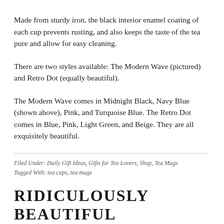Made from sturdy iron, the black interior enamel coating of each cup prevents rusting, and also keeps the taste of the tea pure and allow for easy cleaning.
There are two styles available: The Modern Wave (pictured) and Retro Dot (equally beautiful).
The Modern Wave comes in Midnight Black, Navy Blue (shown above), Pink, and Turquoise Blue. The Retro Dot comes in Blue, Pink, Light Green, and Beige. They are all exquisitely beautiful.
Filed Under: Daily Gift Ideas, Gifts for Tea Lovers, Shop, Tea Mugs
Tagged With: tea cups, tea mugs
RIDICULOUSLY BEAUTIFUL